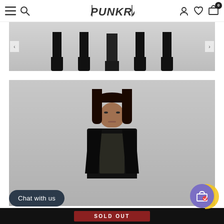PUNKRAVE navigation bar with menu, search, logo, account, wishlist, cart (0)
[Figure (photo): Multiple figures in dark gothic punk outfits with black boots on a light grey background, lower body/boots only visible]
[Figure (photo): Male model with dark shoulder-length hair wearing a dark patterned top and black open jacket/cardigan, standing against light grey background]
Chat with us
SOLD OUT